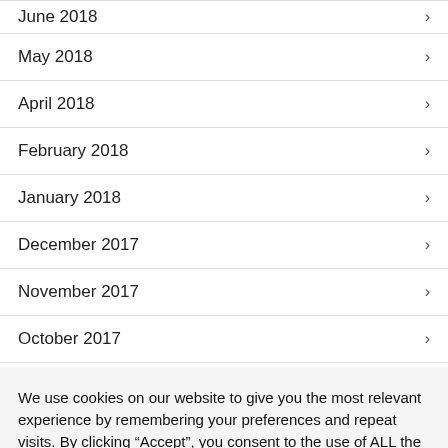June 2018
May 2018
April 2018
February 2018
January 2018
December 2017
November 2017
October 2017
We use cookies on our website to give you the most relevant experience by remembering your preferences and repeat visits. By clicking “Accept”, you consent to the use of ALL the cookies.
Do not sell my personal information.
Cookie Settings | Accept